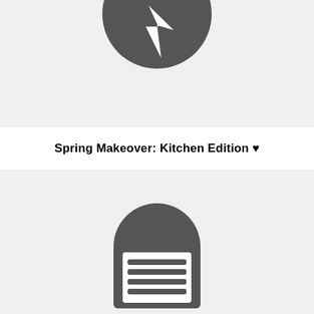[Figure (illustration): Dark gray circular icon with a lightning bolt or play symbol inside, on a light gray background rectangle]
Spring Makeover: Kitchen Edition ♥
[Figure (illustration): Dark gray rounded icon showing a document/text icon with horizontal lines representing text, on a light gray background rectangle, partially visible at bottom of page]